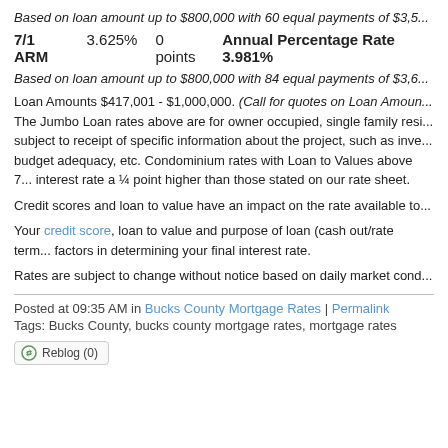Based on loan amount up to $800,000 with 60 equal payments of $3,5...
7/1 ARM   3.625%   0 points   Annual Percentage Rate 3.981%
Based on loan amount up to $800,000 with 84 equal payments of $3,6...
Loan Amounts $417,001 - $1,000,000. (Call for quotes on Loan Amoun... The Jumbo Loan rates above are for owner occupied, single family resi... subject to receipt of specific information about the project, such as inve... budget adequacy, etc. Condominium rates with Loan to Values above 7... interest rate a ¼ point higher than those stated on our rate sheet.
Credit scores and loan to value have an impact on the rate available to...
Your credit score, loan to value and purpose of loan (cash out/rate term... factors in determining your final interest rate.
Rates are subject to change without notice based on daily market cond...
Posted at 09:35 AM in Bucks County Mortgage Rates | Permalink
Tags: Bucks County, bucks county mortgage rates, mortgage rates